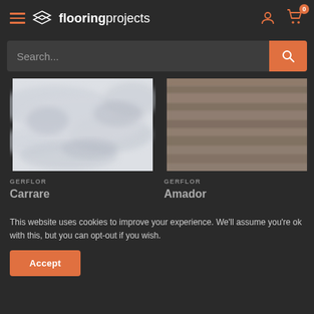flooringprojects — navigation header with hamburger menu, logo, user icon, cart (0)
Search...
[Figure (photo): Marble texture flooring sample — Carrare by Gerflor]
GERFLOR
Carrare
[Figure (photo): Wood/stone texture flooring sample — Amador by Gerflor]
GERFLOR
Amador
This website uses cookies to improve your experience. We'll assume you're ok with this, but you can opt-out if you wish.
Accept